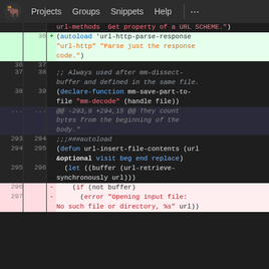Projects  Groups  Snippets  Help  ...
Diff view of source code showing changes to url-http-parse-response and related functions
| old | new | sign | code |
| --- | --- | --- | --- |
|  |  |  | url-methods  Get property of a URL SCHEME.") |
|  | 36 | + | (autoload 'url-http-parse-response "url-http" "Parse just the response code.") |
| 36 | 37 |  |  |
| 37 | 38 |  | ;; Always used after mm-dissect-buffer and defined in the same file. |
| 38 | 39 |  | (declare-function mm-save-part-to-file "mm-decode" (handle file)) |
| ... | ... |  | @@ -293,8 +294,15 @@ They count bytes from the beginning of the body." |
| 293 | 294 |  | ;;;###autoload |
| 294 | 295 |  | (defun url-insert-file-contents (url &optional visit beg end replace) |
| 295 | 296 |  |   (let ((buffer (url-retrieve-synchronously url))) |
| 296 |  | - |     (if (not buffer) |
| 297 |  | - |       (error "Opening input file: No such file or directory, %s" url)) |